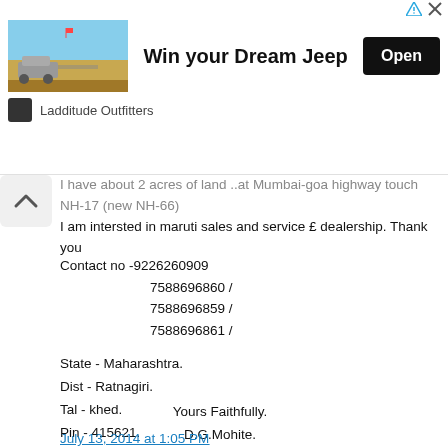[Figure (illustration): Advertisement banner: Jeep in desert with text 'Win your Dream Jeep' and Open button. Brand: Ladditude Outfitters]
I have about 2 acres of land ..at Mumbai-goa highway touch NH-17 (new NH-66)
I am intersted in maruti sales and service £ dealership. Thank you

Contact no -9226260909
                    7588696860 /
                    7588696859 /
                    7588696861 /

State - Maharashtra.
Dist - Ratnagiri.
Tal - khed.
Pin - 415621.

                         Yours Faithfully.
                          D.G.Mohite.
July 13, 2014 at 1:05 PM